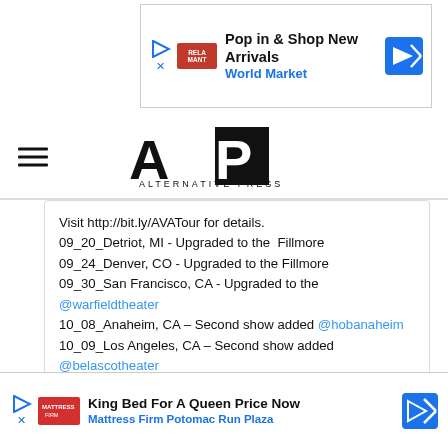[Figure (screenshot): Top advertisement banner: Pop in & Shop New Arrivals - World Market with play button, red logo, and blue arrow icon]
[Figure (logo): Alternative Press (AP) logo in black with stylized bold letters]
Visit http://bit.ly/AVATour for details.
09_20_Detriot, MI - Upgraded to the Fillmore
09_24_Denver, CO - Upgraded to the Fillmore
09_30_San Francisco, CA - Upgraded to the @warfieldtheater
10_08_Anaheim, CA – Second show added @hobanaheim
10_09_Los Angeles, CA – Second show added @belascotheater
view all 582 comments
Add a comment...
The band began teasing their return on Twitter late last month and rel
[Figure (screenshot): Bottom advertisement banner: King Bed For A Queen Price Now - Mattress Firm Potomac Run Plaza]